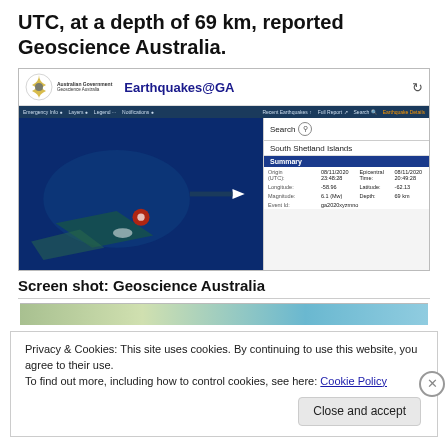UTC, at a depth of 69 km, reported Geoscience Australia.
[Figure (screenshot): Screenshot of the Earthquakes@GA website from Geoscience Australia showing a map with a marked earthquake location near the South Shetland Islands, with a summary panel showing: Origin (UTC): 08/11/2020 23:48:28, Epicentral Time: 08/11/2020 20:49:28, Longitude: -58.96, Latitude: -62.13, Magnitude: 6.1 (Mw), Depth: 69 km, Event Id: ga2020xyzmno]
Screen shot: Geoscience Australia
[Figure (screenshot): Partial screenshot of another map showing terrain, partially obscured by a cookie consent banner]
Privacy & Cookies: This site uses cookies. By continuing to use this website, you agree to their use.
To find out more, including how to control cookies, see here: Cookie Policy
Close and accept